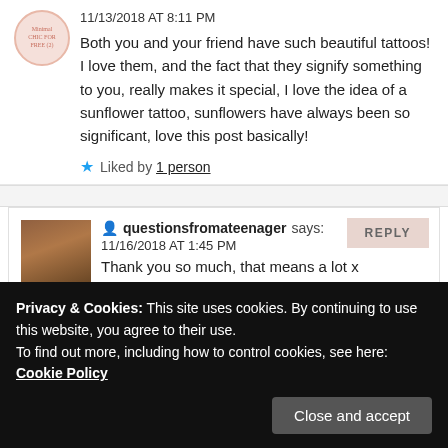11/13/2018 AT 8:11 PM
Both you and your friend have such beautiful tattoos! I love them, and the fact that they signify something to you, really makes it special, I love the idea of a sunflower tattoo, sunflowers have always been so significant, love this post basically!
Liked by 1 person
questionsfromateenager says:
11/16/2018 AT 1:45 PM
Thank you so much, that means a lot x
Privacy & Cookies: This site uses cookies. By continuing to use this website, you agree to their use.
To find out more, including how to control cookies, see here: Cookie Policy
11/13/2018 AT 8:53 PM